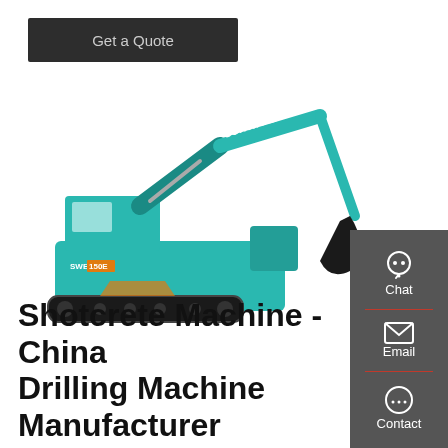Get a Quote
[Figure (photo): Sunward SWE brand teal/turquoise crawler excavator shown in profile view on white background, with extended boom arm and bucket, model label SWE on the body]
Chat
Email
Contact
Shotcrete Machine - China Drilling Machine Manufacturer